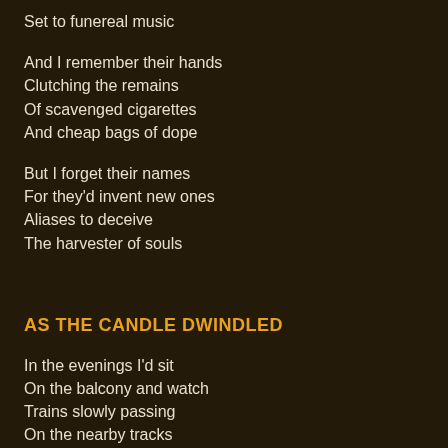Set to funereal music
And I remember their hands
Clutching the remains
Of scavenged cigarettes
And cheap bags of dope
But I forget their names
For they'd invent new ones
Aliases to deceive
The harvester of souls
AS THE CANDLE DWINDLED
In the evenings I'd sit
On the balcony and watch
Trains slowly passing
On the nearby tracks
While inside my wife